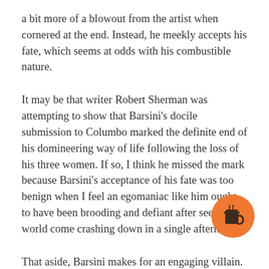a bit more of a blowout from the artist when cornered at the end. Instead, he meekly accepts his fate, which seems at odds with his combustible nature.
It may be that writer Robert Sherman was attempting to show that Barsini's docile submission to Columbo marked the definite end of his domineering way of life following the loss of his three women. If so, I think he missed the mark because Barsini's acceptance of his fate was too benign when I feel an egomaniac like him ought to have been brooding and defiant after seeing his world come crashing down in a single afternoon.
That aside, Barsini makes for an engaging villain. Although he's a manipulative and dictatorial little sh*t towards the three women, he's a lot of fun to watch and I do feel like Bauchau and Falk had a good level of rapport – certainly by the standards of the comeback episodes. Bauchau does both
[Figure (illustration): Orange circular button with a coffee cup icon (Buy Me a Coffee style widget)]